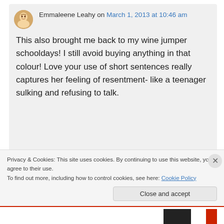Emmaleene Leahy on March 1, 2013 at 10:46 am
This also brought me back to my wine jumper schooldays! I still avoid buying anything in that colour! Love your use of short sentences really captures her feeling of resentment- like a teenager sulking and refusing to talk.
Privacy & Cookies: This site uses cookies. By continuing to use this website, you agree to their use.
To find out more, including how to control cookies, see here: Cookie Policy